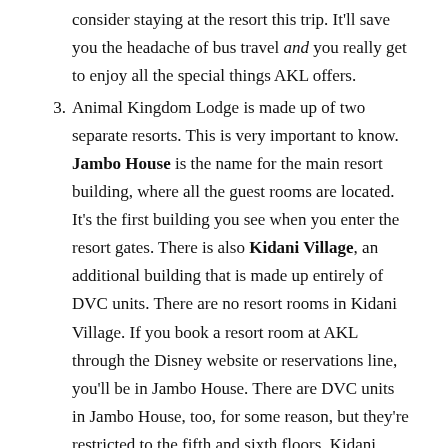consider staying at the resort this trip. It'll save you the headache of bus travel and you really get to enjoy all the special things AKL offers.
Animal Kingdom Lodge is made up of two separate resorts. This is very important to know. Jambo House is the name for the main resort building, where all the guest rooms are located. It's the first building you see when you enter the resort gates. There is also Kidani Village, an additional building that is made up entirely of DVC units. There are no resort rooms in Kidani Village. If you book a resort room at AKL through the Disney website or reservations line, you'll be in Jambo House. There are DVC units in Jambo House, too, for some reason, but they're restricted to the fifth and sixth floors. Kidani